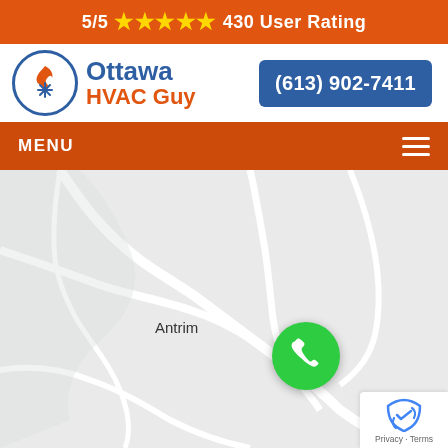5/5 ★★★★★ 430 User Rating
[Figure (logo): Ottawa HVAC Guy logo with flame and snowflake icon in circular blue border, company name in blue and orange]
(613) 902-7411
MENU
[Figure (map): Google Maps view showing Antrim area with road network on light grey background, green phone call button overlay, reCAPTCHA Privacy Terms badge in bottom right corner]